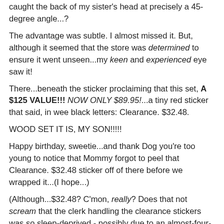caught the back of my sister's head at precisely a 45-degree angle...?
The advantage was subtle. I almost missed it. But, although it seemed that the store was determined to ensure it went unseen...my keen and experienced eye saw it!
There...beneath the sticker proclaiming that this set, A $125 VALUE!!! NOW ONLY $89.95!...a tiny red sticker that said, in wee black letters: Clearance. $32.48.
WOOD SET IT IS, MY SON!!!!!
Happy birthday, sweetie...and thank Dog you're too young to notice that Mommy forgot to peel that Clearance. $32.48 sticker off of there before we wrapped it...(I hope...)
(Although...$32.48? C'mon, really? Does that not scream that the clerk handling the clearance stickers was so sleep-deprived - possibly due to an almost-four-year-old child having nightmares every night for three or four or fifteen nights, s/he's kinda losing count at this point - that s/he could